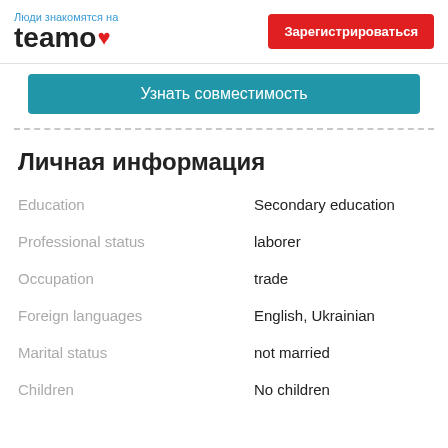Люди знакомятся на teamo♥  |  Зарегистрироваться
Узнать совместимость
Личная информация
| Field | Value |
| --- | --- |
| Education | Secondary education |
| Professional status | laborer |
| Occupation | trade |
| Foreign languages | English, Ukrainian |
| Marital status | not married |
| Children | No children |